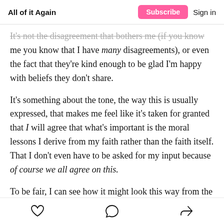All of it Again | Subscribe | Sign in
It's not the disagreement that bothers me (if you know me you know that I have many disagreements), or even the fact that they're kind enough to be glad I'm happy with beliefs they don't share.
It's something about the tone, the way this is usually expressed, that makes me feel like it's taken for granted that I will agree that what's important is the moral lessons I derive from my faith rather than the faith itself. That I don't even have to be asked for my input because of course we all agree on this.
To be fair, I can see how it might look this way from the outside — if I don't mind that the stories of Noah's Ark